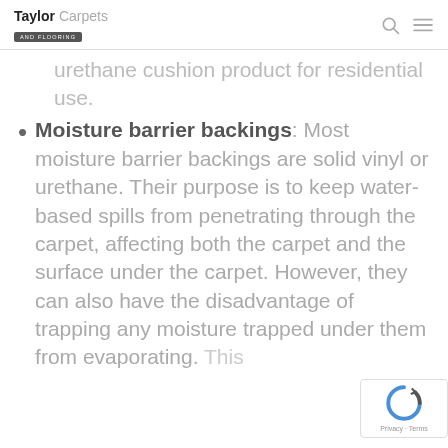Taylor Carpets AND FLOORING
urethane cushion product for residential use.
Moisture barrier backings: Most moisture barrier backings are solid vinyl or urethane. Their purpose is to keep water-based spills from penetrating through the carpet, affecting both the carpet and the surface under the carpet. However, they can also have the disadvantage of trapping any moisture trapped under them from evaporating. This